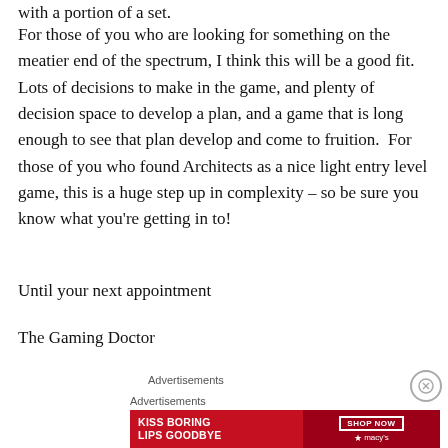with a portion of a set.
For those of you who are looking for something on the meatier end of the spectrum, I think this will be a good fit. Lots of decisions to make in the game, and plenty of decision space to develop a plan, and a game that is long enough to see that plan develop and come to fruition. For those of you who found Architects as a nice light entry level game, this is a huge step up in complexity – so be sure you know what you're getting in to!
Until your next appointment
The Gaming Doctor
Advertisements
Advertisements
[Figure (other): Advertisement banner: KISS BORING LIPS GOODBYE with woman's face and macys SHOP NOW button]